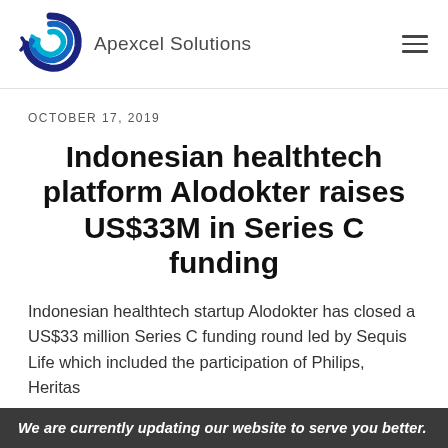Apexcel Solutions
OCTOBER 17, 2019
Indonesian healthtech platform Alodokter raises US$33M in Series C funding
Indonesian healthtech startup Alodokter has closed a US$33 million Series C funding round led by Sequis Life which included the participation of Philips, Heritas
We are currently updating our website to serve you better.